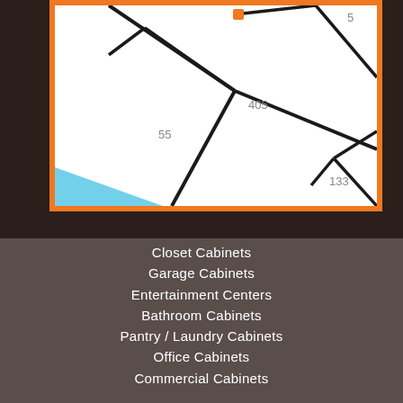[Figure (map): A road/highway map with an orange border frame showing roads labeled 5, 55, 405, and 133 with a blue water area in the lower left corner. An orange location marker pin is visible near the top center.]
Closet Cabinets
Garage Cabinets
Entertainment Centers
Bathroom Cabinets
Pantry / Laundry Cabinets
Office Cabinets
Commercial Cabinets